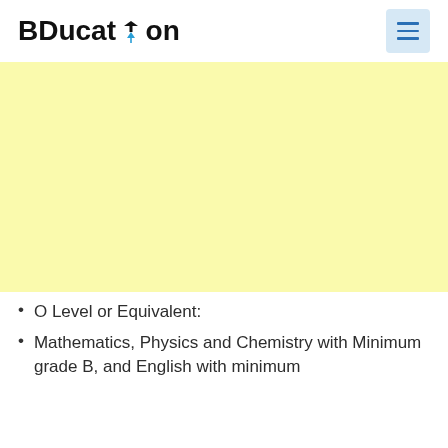BDucation
[Figure (screenshot): Yellow banner area (advertisement or image placeholder) with pale yellow background]
O Level or Equivalent:
Mathematics, Physics and Chemistry with Minimum grade B, and English with minimum